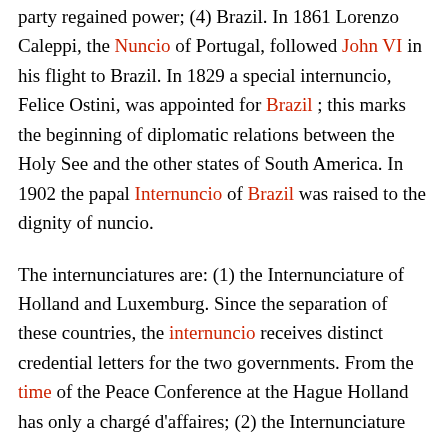party regained power; (4) Brazil. In 1861 Lorenzo Caleppi, the Nuncio of Portugal, followed John VI in his flight to Brazil. In 1829 a special internuncio, Felice Ostini, was appointed for Brazil ; this marks the beginning of diplomatic relations between the Holy See and the other states of South America. In 1902 the papal Internuncio of Brazil was raised to the dignity of nuncio.
The internunciatures are: (1) the Internunciature of Holland and Luxemburg. Since the separation of these countries, the internuncio receives distinct credential letters for the two governments. From the time of the Peace Conference at the Hague Holland has only a chargé d'affaires; (2) the Internunciature